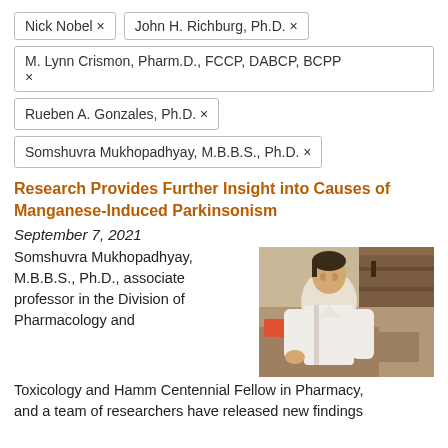Nick Nobel ×
John H. Richburg, Ph.D. ×
M. Lynn Crismon, Pharm.D., FCCP, DABCP, BCPP ×
Rueben A. Gonzales, Ph.D. ×
Somshuvra Mukhopadhyay, M.B.B.S., Ph.D. ×
Research Provides Further Insight into Causes of Manganese-Induced Parkinsonism
September 7, 2021
[Figure (photo): Photo of Somshuvra Mukhopadhyay in a laboratory setting, wearing a white lab coat, smiling, with lab equipment visible in the background.]
Somshuvra Mukhopadhyay, M.B.B.S., Ph.D., associate professor in the Division of Pharmacology and Toxicology and Hamm Centennial Fellow in Pharmacy, and a team of researchers have released new findings